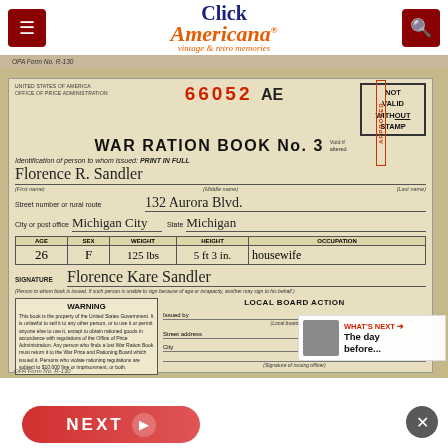Click Americana — vintage & retro memories
[Figure (photo): Scanned WWII-era OPA War Ration Book No. 3, serial number 66052 AE, issued to Florence R. Sandler, 132 Aurora Blvd, Michigan City, State Michigan. Includes WARNING box, LOCAL BOARD ACTION section, and NOT VALID WITHOUT STAMP box.]
NOT VALID WITHOUT STAMP
WAR RATION BOOK No. 3
Identification of person to whom issued: PRINT IN FULL
Florence R. Sandler
Street number or rural route: 132 Aurora Blvd
City or post office: Michigan City  State: Michigan
| AGE | SEX | WEIGHT | HEIGHT | OCCUPATION |
| --- | --- | --- | --- | --- |
| 26 | F | 125 lbs | 5 ft 3 in | housewife |
SIGNATURE  Florence Kare Sandler
WARNING
This book is the property of the United States Government. It is unlawful to sell it to any other person, or to use it or permit anyone else to use it, except to obtain rationed goods in accordance with regulations of the Office of Price Administration. Any person who finds a lost War Ration Book must return it to the War Price and Rationing Board which issued it. Persons who violate rationing regulations are subject to $10,000 fine or imprisonment, or both.
LOCAL BOARD ACTION
Issued by ___________
(Local board number)
Street address ___________
City ___________  State ___
(Signature of issuing officer)